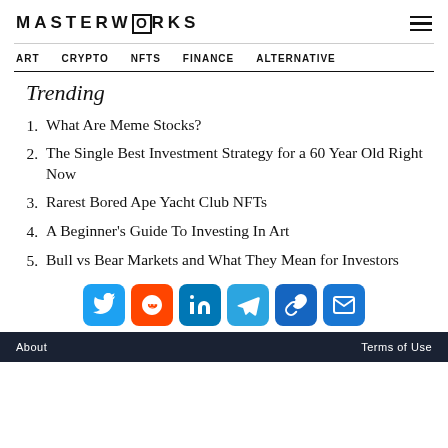MASTERWORKS
ART   CRYPTO   NFTS   FINANCE   ALTERNATIVE
Trending
1. What Are Meme Stocks?
2. The Single Best Investment Strategy for a 60 Year Old Right Now
3. Rarest Bored Ape Yacht Club NFTs
4. A Beginner's Guide To Investing In Art
5. Bull vs Bear Markets and What They Mean for Investors
[Figure (infographic): Social share buttons: Twitter, Reddit, LinkedIn, Telegram, Link, Email]
About   Terms of Use